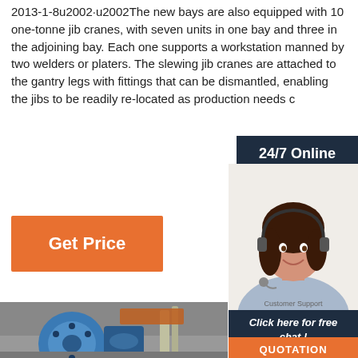2013-1-8u2002·u2002The new bays are also equipped with 10 one-tonne jib cranes, with seven units in one bay and three in the adjoining bay. Each one supports a workstation manned by two welders or platers. The slewing jib cranes are attached to the gantry legs with fittings that can be dismantled, enabling the jibs to be readily re-located as production needs c
[Figure (photo): Customer service agent woman with headset, smiling, with '24/7 Online' badge and 'Click here for free chat!' and QUOTATION button overlays]
Get Price
[Figure (photo): Industrial blue electric winch or motor equipment photographed outdoors on a construction/industrial site]